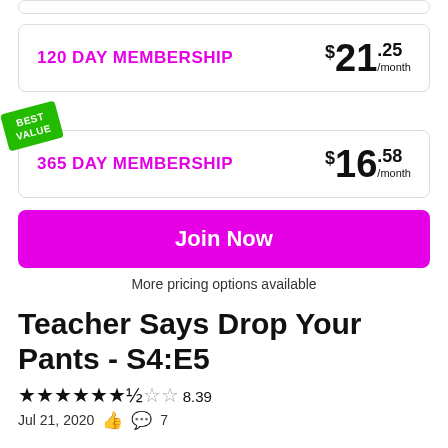120 DAY MEMBERSHIP — $21.25/month
[Figure (other): Best Value badge — green diagonal badge with text BEST VALUE]
365 DAY MEMBERSHIP — $16.58/month
Join Now
More pricing options available
Teacher Says Drop Your Pants - S4:E5
★★★★★★½☆☆ 8.39
Jul 21, 2020  👍 💬 7